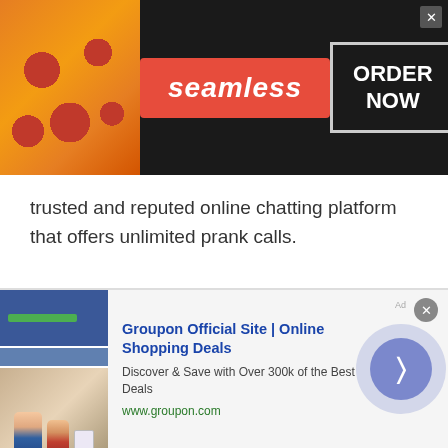[Figure (other): Seamless food delivery banner advertisement with pizza image on the left, red Seamless logo in the center, and 'ORDER NOW' button on the right with a close X button]
trusted and reputed online chatting platform that offers unlimited prank calls.
Remember, numbers to prank calls are just for fun and entertainment. So, make sure no one needs to be offensive while talking to strangers online. As any violation would create trouble for you i.e. you will be blocked by the admin or moderators. However, if you ever feel uncomfortable while revealing your identity then anonymous prank calls
[Figure (other): Groupon Official Site advertisement banner at the bottom showing a screenshot thumbnail of the Groupon website on the left, ad text 'Groupon Official Site | Online Shopping Deals - Discover & Save with Over 300k of the Best Deals - www.groupon.com' in the center, and a purple circular navigation arrow button on the right]